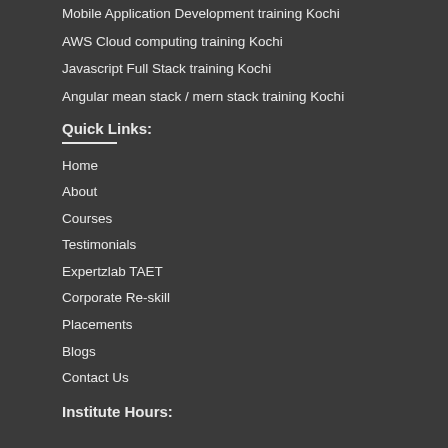Mobile Application Development training Kochi
AWS Cloud computing training Kochi
Javascript Full Stack training Kochi
Angular mean stack / mern stack training Kochi
Quick Links:
Home
About
Courses
Testimonials
Expertzlab TAET
Corporate Re-skill
Placements
Blogs
Contact Us
Institute Hours: